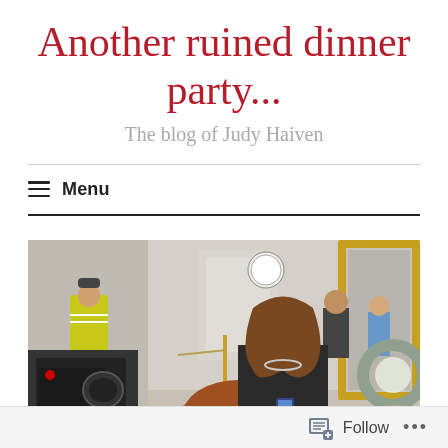Another ruined dinner party...
The blog of Judy Haiven
Menu
[Figure (photo): Indoor scene in a formal hallway with ornate gold-framed mirrors on the wall. Several people are visible: a worker in a yellow high-visibility vest in the background, a person in dark clothing seated, and in the foreground a woman with brown hair wearing a dark jacket and necklace, holding a phone. A camera operator and another person with red/brown hair are also in the foreground.]
Follow ...